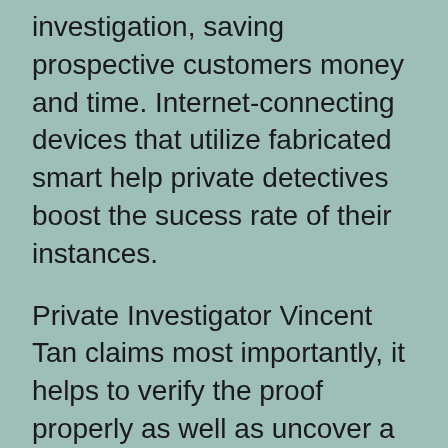investigation, saving prospective customers money and time. Internet-connecting devices that utilize fabricated smart help private detectives boost the sucess rate of their instances.
Private Investigator Vincent Tan claims most importantly, it helps to verify the proof properly as well as uncover a lot more important information.
An instance of Expert system is an International Setting System (GENERAL PRACTITIONER) tracking gadget. A general